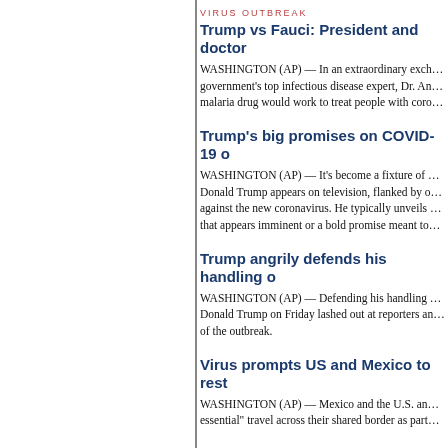VIRUS OUTBREAK
Trump vs Fauci: President and doctor
WASHINGTON (AP) — In an extraordinary exchange, government's top infectious disease expert, Dr. Anthony Fauci said a malaria drug would work to treat people with coronavirus.
Trump's big promises on COVID-19
WASHINGTON (AP) — It's become a fixture of the crisis: Donald Trump appears on television, flanked by officials fighting against the new coronavirus. He typically unveils a breakthrough that appears imminent or a bold promise meant to
Trump angrily defends his handling of
WASHINGTON (AP) — Defending his handling of the crisis, Donald Trump on Friday lashed out at reporters and critics of the outbreak.
Virus prompts US and Mexico to rest
WASHINGTON (AP) — Mexico and the U.S. announced essential travel across their shared border as part
US virus testing faces new headwind:
WASHINGTON (AP) — First, some of the coronavirus tests didn't work, then there weren't enough to go around. Now, just as the federal government workers are warning of a new roadblock: dire sho